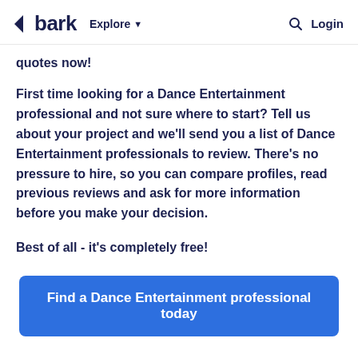bark  Explore  Login
quotes now!
First time looking for a Dance Entertainment professional and not sure where to start? Tell us about your project and we'll send you a list of Dance Entertainment professionals to review. There's no pressure to hire, so you can compare profiles, read previous reviews and ask for more information before you make your decision.
Best of all - it's completely free!
Find a Dance Entertainment professional today